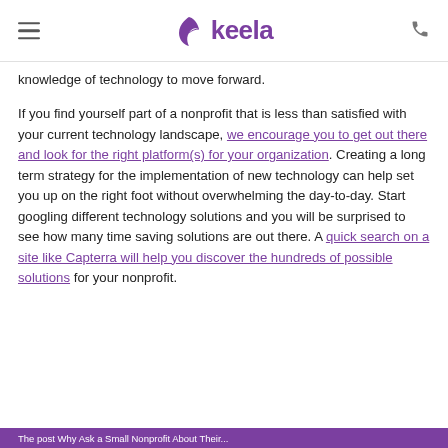keela
knowledge of technology to move forward.
If you find yourself part of a nonprofit that is less than satisfied with your current technology landscape, we encourage you to get out there and look for the right platform(s) for your organization. Creating a long term strategy for the implementation of new technology can help set you up on the right foot without overwhelming the day-to-day. Start googling different technology solutions and you will be surprised to see how many time saving solutions are out there. A quick search on a site like Capterra will help you discover the hundreds of possible solutions for your nonprofit.
The post Why Ask a Small Nonprofit About Their...